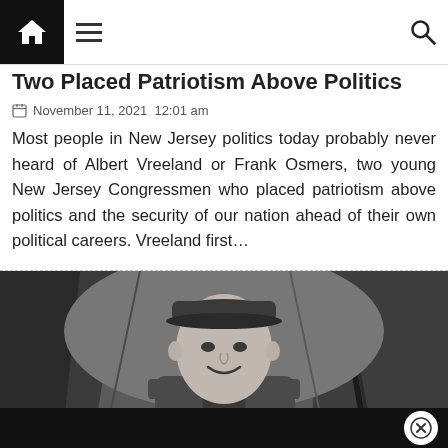Navigation bar with home, menu, and search icons
Two Placed Patriotism Above Politics
November 11, 2021  12:01 am
Most people in New Jersey politics today probably never heard of Albert Vreeland or Frank Osmers, two young New Jersey Congressmen who placed patriotism above politics and the security of our nation ahead of their own political careers. Vreeland first...
[Figure (photo): Black and white photograph of a young man in military uniform, smiling, seated inside what appears to be a military tent with a rifle visible in the background.]